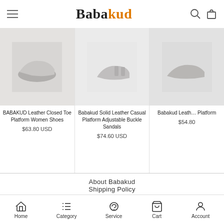Babakud
[Figure (photo): Product image of BABAKUD Leather Closed Toe Platform Women Shoes]
BABAKUD Leather Closed Toe Platform Women Shoes
$63.80 USD
[Figure (photo): Product image of Babakud Solid Leather Casual Platform Adjustable Buckle Sandals]
Babakud Solid Leather Casual Platform Adjustable Buckle Sandals
$74.60 USD
[Figure (photo): Product image of Babakud Leather Platform (partial)]
Babakud Leather Platform
$54.80
About Babakud
Shipping Policy
Return & Exchange
Privacy Policy
Home  Category  Service  Cart  Account